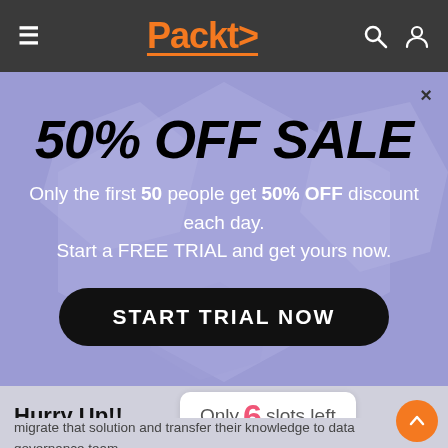Packt> [navigation bar with hamburger menu, logo, search and user icons]
50% OFF SALE
Only the first 50 people get 50% OFF discount each day.
Start a FREE TRIAL and get yours now.
START TRIAL NOW
Hurry Up!!
Only 6 slots left
migrate that solution and transfer their knowledge to data governance team.